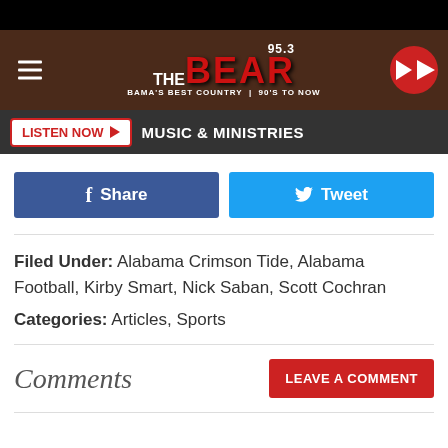[Figure (logo): 95.3 The Bear radio station logo banner with hamburger menu and play button]
LISTEN NOW ▶  MUSIC & MINISTRIES
[Figure (infographic): Facebook Share button and Twitter Tweet button]
Filed Under: Alabama Crimson Tide, Alabama Football, Kirby Smart, Nick Saban, Scott Cochran
Categories: Articles, Sports
Comments
LEAVE A COMMENT